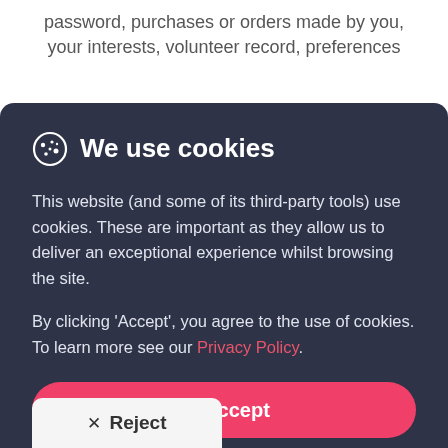password, purchases or orders made by you, your interests, volunteer record, preferences
We use cookies
This website (and some of its third-party tools) use cookies. These are important as they allow us to deliver an exceptional experience whilst browsing the site.
By clicking 'Accept', you agree to the use of cookies. To learn more see our Privacy Policy.
✓  Accept
✕  Reject